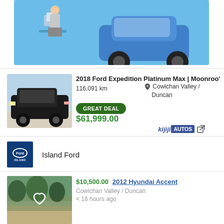[Figure (photo): Advertisement banner with blue background showing a man sitting at a desk with a laptop and a blue car beside him]
2018 Ford Expedition Platinum Max | Moonroo'
116,091 km
Cowichan Valley / Duncan
GREAT DEAL
$61,999.00
[Figure (photo): Black Ford Expedition SUV parked outdoors]
kijiji AUTOS
[Figure (logo): Island Ford dealership logo - blue square with Ford oval and ISLAND text]
Island Ford
[Figure (photo): Partial thumbnail of a car listing with trees in background and heart icon overlay]
$10,500.00 2012 Hyundai Accent
Cowichan Valley / Duncan
< 16 hours ago